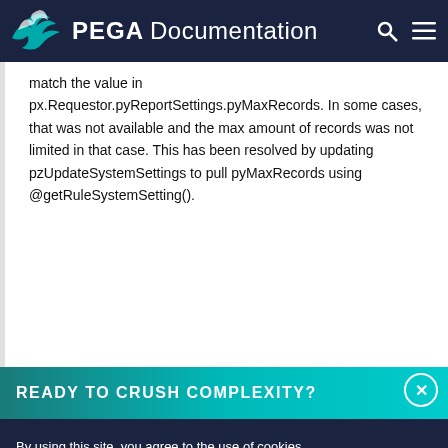PEGA Documentation
match the value in px.Requestor.pyReportSettings.pyMaxRecords. In some cases, that was not available and the max amount of records was not limited in that case. This has been resolved by updating pzUpdateSystemSettings to pull pyMaxRecords using @getRuleSystemSetting().
READY TO CRUSH COMPLEXITY?
By using this site, you agree to the use of cookies. Read our Privacy Policy
Accept and continue
About cookies